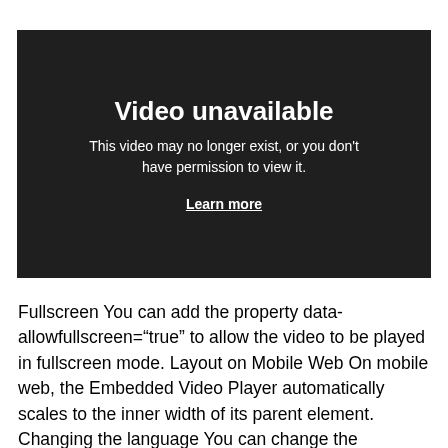[Figure (screenshot): Dark video player placeholder showing 'Video unavailable' message with subtitle 'This video may no longer exist, or you don't have permission to view it.' and a 'Learn more' link.]
Fullscreen You can add the property data-allowfullscreen="true" to allow the video to be played in fullscreen mode. Layout on Mobile Web On mobile web, the Embedded Video Player automatically scales to the inner width of its parent element. Changing the language You can change the language of the